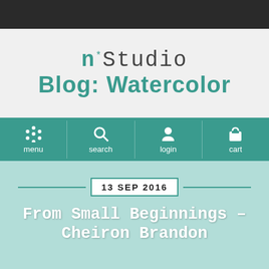n*Studio Blog: Watercolor
menu  search  login  cart
13 SEP 2016
From Small Beginnings – Cheiron Brandon
Card
Creative Squad
Kaffee Klatsch
Marks
Mish Mesh
Stamps
Watercolor